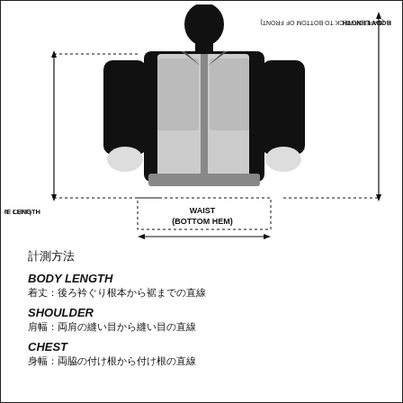[Figure (illustration): Diagram of a person wearing a jacket with measurement lines indicating: SLEEVE LENGTH (top of shoulder to end of cuff), BODY LENGTH (nape of neck to bottom of front), and WAIST (bottom hem). Arrows and dotted lines mark each measurement point.]
計測方法
BODY LENGTH
着丈：後ろ衿ぐり根本から裾までの直線
SHOULDER
肩幅：両肩の縫い目から縫い目の直線
CHEST
身幅：両脇の付け根から付け根の直線